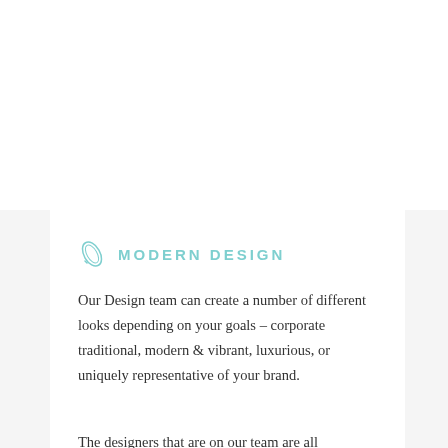MODERN DESIGN
Our Design team can create a number of different looks depending on your goals – corporate traditional, modern & vibrant, luxurious, or uniquely representative of your brand.
The designers that are on our team are all